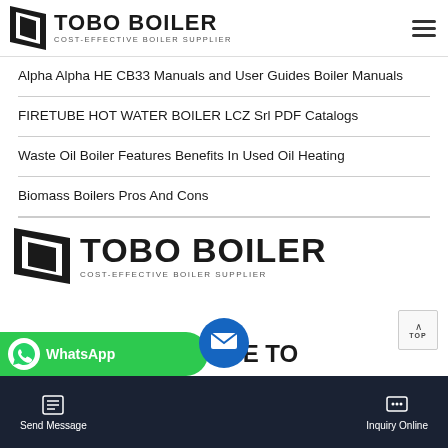TOBO BOILER — COST-EFFECTIVE BOILER SUPPLIER
Alpha Alpha HE CB33 Manuals and User Guides Boiler Manuals
FIRETUBE HOT WATER BOILER LCZ Srl PDF Catalogs
Waste Oil Boiler Features Benefits In Used Oil Heating
Biomass Boilers Pros And Cons
[Figure (logo): TOBO BOILER logo with tagline COST-EFFECTIVE BOILER SUPPLIER]
[Figure (infographic): WhatsApp button (green), partial text OVE TO, blue message circle, bottom navigation bar with Send Message and Inquiry Online]